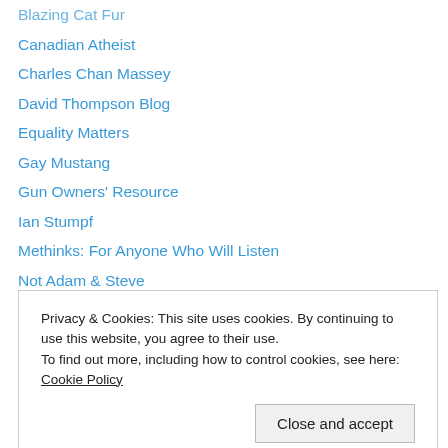Blazing Cat Fur
Canadian Atheist
Charles Chan Massey
David Thompson Blog
Equality Matters
Gay Mustang
Gun Owners' Resource
Ian Stumpf
Methinks: For Anyone Who Will Listen
Not Adam & Steve
Personal Stories Project
Stephen Liddell
The Buell Review
Top 100 Marriage Equality Blogs
Privacy & Cookies: This site uses cookies. By continuing to use this website, you agree to their use.
To find out more, including how to control cookies, see here: Cookie Policy
Close and accept
Civil Rights (93)